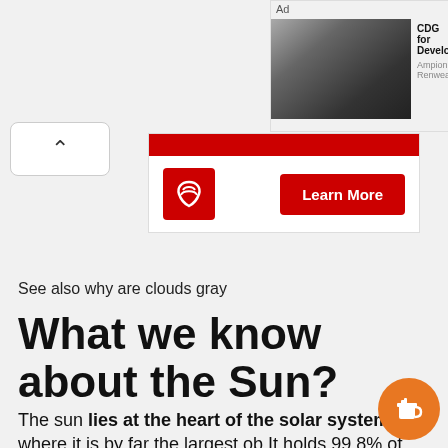[Figure (screenshot): Advertisement banner showing a man high-fiving another person in a car, with text 'CDG for Develop' and 'Ampion Renweable']
[Figure (screenshot): Red advertisement card with circular logo and Learn More button]
See also why are clouds gray
What we know about the Sun?
The sun lies at the heart of the solar system where it is by far the largest ob It holds 99.8% of the solar system's ma. and is roughly 109 times the diameter of the